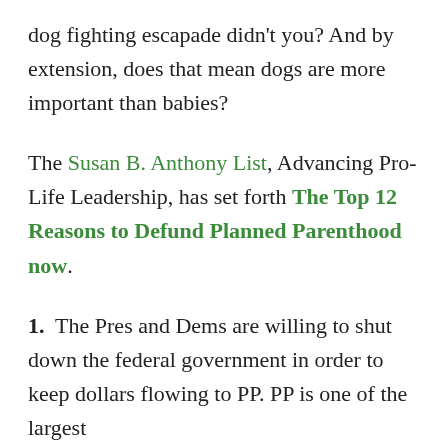dog fighting escapade didn't you? And by extension, does that mean dogs are more important than babies?
The Susan B. Anthony List, Advancing Pro-Life Leadership, has set forth The Top 12 Reasons to Defund Planned Parenthood now.
1. The Pres and Dems are willing to shut down the federal government in order to keep dollars flowing to PP. PP is one of the largest...